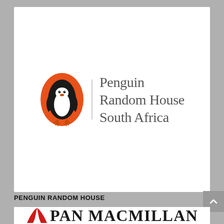[Figure (logo): Penguin Random House South Africa logo — orange oval with penguin illustration on left, vertical divider line, text 'Penguin Random House South Africa' in serif font on right]
PENGUIN RANDOM HOUSE
[Figure (logo): Pan Macmillan logo — red wave/book graphic on left followed by 'PAN MACMILLAN' text in bold serif font]